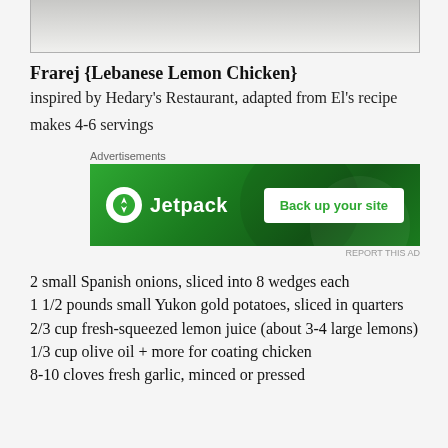[Figure (photo): Partial photo of Lebanese Lemon Chicken dish, cropped at top of page]
Frarej {Lebanese Lemon Chicken}
inspired by Hedary's Restaurant, adapted from El's recipe
makes 4-6 servings
[Figure (other): Jetpack advertisement banner with green background, Jetpack logo on left, 'Back up your site' button on right]
2 small Spanish onions, sliced into 8 wedges each
1 1/2 pounds small Yukon gold potatoes, sliced in quarters
2/3 cup fresh-squeezed lemon juice (about 3-4 large lemons)
1/3 cup olive oil + more for coating chicken
8-10 cloves fresh garlic, minced or pressed